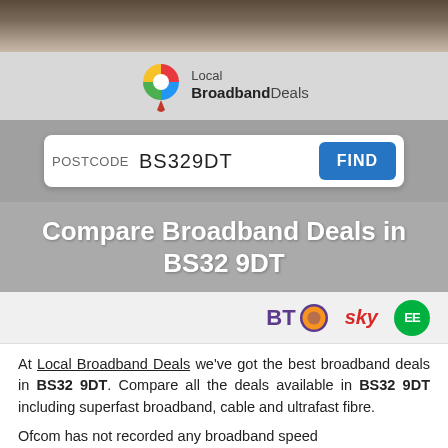[Figure (photo): Top photo strip showing a blurred background image (person working at a desk/laptop)]
[Figure (logo): Local Broadband Deals logo with colourful map pin icon and text 'Local BroadbandDeals']
POSTCODE  BS329DT  FIND
Compare Broadband Deals in BS32 9DT
[Figure (logo): Provider logos: BT (with orange globe icon), sky (red italic), EE (green circle)]
At Local Broadband Deals we've got the best broadband deals in BS32 9DT. Compare all the deals available in BS32 9DT including superfast broadband, cable and ultrafast fibre.
Ofcom has not recorded any broadband speed